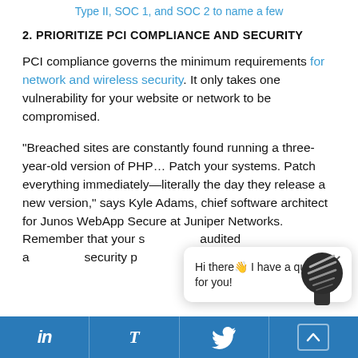Type II, SOC 1, and SOC 2 to name a few
2. PRIORITIZE PCI COMPLIANCE AND SECURITY
PCI compliance governs the minimum requirements for network and wireless security. It only takes one vulnerability for your website or network to be compromised.
“Breached sites are constantly found running a three-year-old version of PHP… Patch your systems. Patch everything immediately—literally the day they release a new version,” says Kyle Adams, chief software architect for Junos WebApp Secure at Juniper Networks. Remember that your s... audited a... security p...
[Figure (other): Chat popup widget with bot avatar icon showing message: Hi there👋 I have a question for you! with close button (x)]
LinkedIn | Tumblr | Twitter | Scroll up